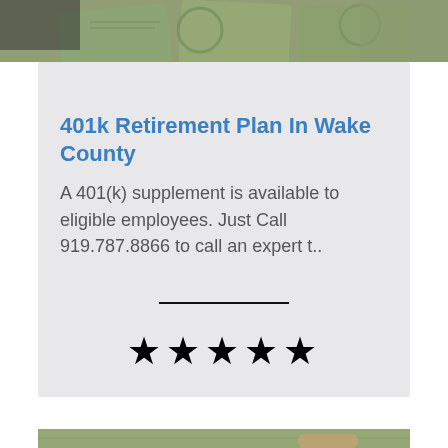[Figure (photo): Top banner photo showing US dollar bills/currency spread out]
401k Retirement Plan In Wake County
A 401(k) supplement is available to eligible employees. Just Call 919.787.8866 to call an expert t..
[Figure (other): Horizontal divider line]
[Figure (other): Five black star rating symbols]
[Figure (photo): Bottom banner photo showing US dollar bills with a hand]